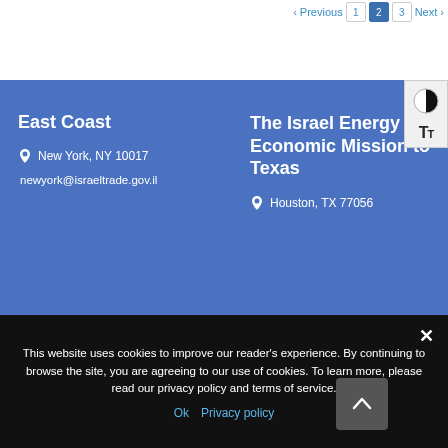Previous 1 2 3 Next
East Coast
New York, NY 10017
newyork@israeltrade.gov.il
The Israel Energy and Economic Mission to Texas
Houston, TX 77056
This website uses cookies to improve our reader's experience. By continuing to browse the site, you are agreeing to our use of cookies. To learn more, please read our privacy policy and terms of service.
Ok   Privacy policy